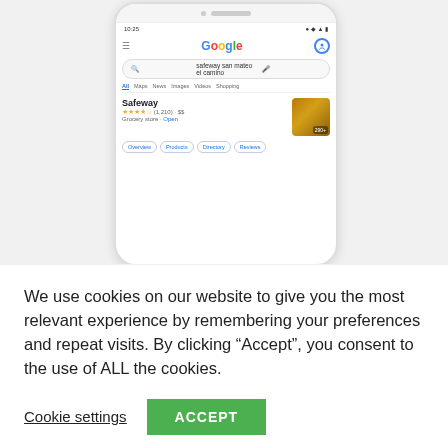[Figure (screenshot): Screenshot of a Google search result on a mobile phone showing a search for 'safeway san mateo el camino' with a Safeway business listing showing 4.0 stars, 1,210 reviews, $$, Grocery store, with action chips: Overview, Products, Directory, Reviews]
We use cookies on our website to give you the most relevant experience by remembering your preferences and repeat visits. By clicking “Accept”, you consent to the use of ALL the cookies.
Cookie settings
ACCEPT